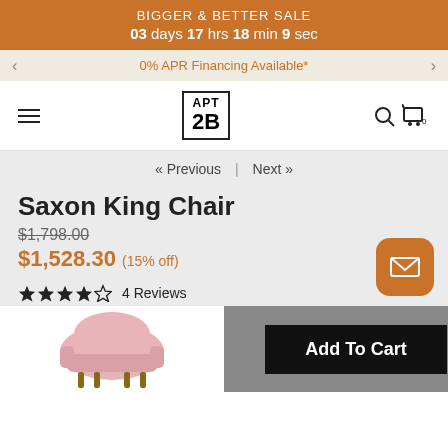BIGGER & BETTER SALE
03 days 17 hrs 18 min 9 sec
0% APR Financing Available*
[Figure (logo): APT 2B logo in bordered box]
« Previous | Next »
Saxon King Chair
$1,798.00 (original price, struck through)
$1,528.30 (15% off)
4 Reviews (3.5 stars)
[Figure (photo): Pink upholstered king chair with wooden legs]
Add To Cart